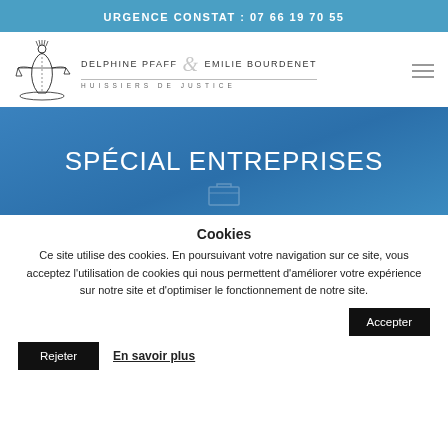URGENCE CONSTAT : 07 66 19 70 55
[Figure (logo): Logo of Delphine Pfaff & Emilie Bourdenet Huissiers de Justice — line drawing of Lady Justice with scales, with firm names and subtitle]
SPÉCIAL ENTREPRISES
Cookies
Ce site utilise des cookies. En poursuivant votre navigation sur ce site, vous acceptez l'utilisation de cookies qui nous permettent d'améliorer votre expérience sur notre site et d'optimiser le fonctionnement de notre site.
Accepter
Rejeter
En savoir plus